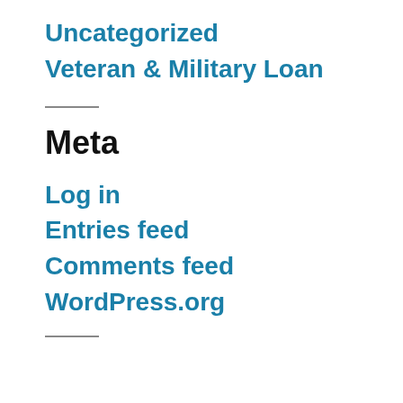Uncategorized
Veteran & Military Loan
Meta
Log in
Entries feed
Comments feed
WordPress.org